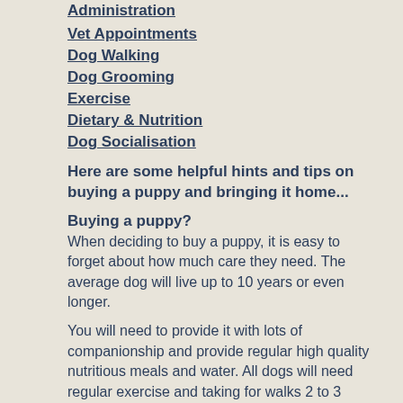Administration
Vet Appointments
Dog Walking
Dog Grooming
Exercise
Dietary & Nutrition
Dog Socialisation
Here are some helpful hints and tips on buying a puppy and bringing it home...
Buying a puppy?
When deciding to buy a puppy, it is easy to forget about how much care they need. The average dog will live up to 10 years or even longer.
You will need to provide it with lots of companionship and provide regular high quality nutritious meals and water. All dogs will need regular exercise and taking for walks 2 to 3 times per day, even in the middle of winter!